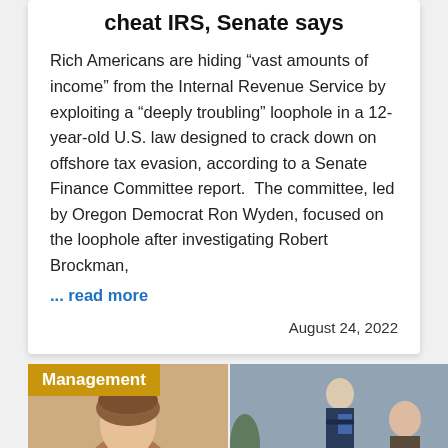cheat IRS, Senate says
Rich Americans are hiding “vast amounts of income” from the Internal Revenue Service by exploiting a “deeply troubling” loophole in a 12-year-old U.S. law designed to crack down on offshore tax evasion, according to a Senate Finance Committee report.  The committee, led by Oregon Democrat Ron Wyden, focused on the loophole after investigating Robert Brockman,
... read more
August 24, 2022
[Figure (photo): Photo of a woman with hair up, partial view, warm toned background, with a 'Management' label overlay in gold/amber color]
[Figure (photo): Photo of two people in business attire, one standing with arms crossed holding a clipboard, another seated, in a professional setting]